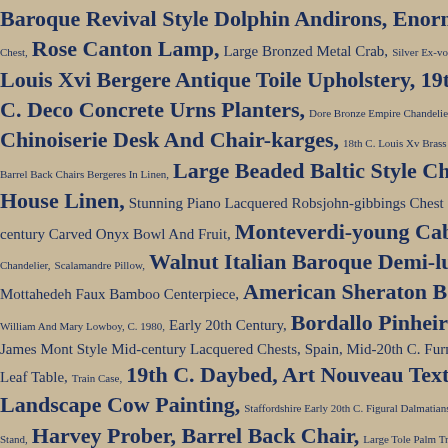Baroque Revival Style Dolphin Andirons, Enormous French Chest, Rose Canton Lamp, Large Bronzed Metal Crab, Silver Ex-votos, 19th C. Louis Xvi Bergere Antique Toile Upholstery, 19th C. Chinese Altar C. Deco Concrete Urns Planters, Dore Bronze Empire Chandelier, Chinoiserie Desk And Chair-karges, 18th C. Louis Xv Brass Candlesticks C. Barrel Back Chairs Bergeres In Linen, Large Beaded Baltic Style Chandelier House Linen, Stunning Piano Lacquered Robsjohn-gibbings Chest Of Drawers century Carved Onyx Bowl And Fruit, Monteverdi-young Cabinets Chandelier, Scalamandre Pillow, Walnut Italian Baroque Demi-lune Chest Mottahedeh Faux Bamboo Centerpiece, American Sheraton Bench, William And Mary Lowboy, C. 1980, Early 20th Century, Bordallo Pinheiro, Large James Mont Style Mid-century Lacquered Chests, Spain, Mid-20th C. Furniture Leaf Table, Train Case, 19th C. Daybed, Art Nouveau Textile, 19th C. Landscape Cow Painting, Staffordshire Early 20th C. Figural Dalmatians, Pair French Stand, Harvey Prober, Barrel Back Chair, Large Tole Palm Trees, Large Italian Lavabo, Anglo-raj Caned Long Bench, Custom Vintage William Spratling, Warren Platner Chairs, Iron Roses, Art Nouveau Vestments Open Arm Chairs, Niches, Jerusalem Lithograph, Tobia Scarpa Chair 18th C. Table, Vintage Leather Tufted Sofa, Balls, Mid-century Modern George III Chippendale Side Chairs, 19th C. English Chippendale Chair, Large Neo-classical Silver Plated Finial, 19th C. Coal Basket 1960s Gold Leafed Table Base And Lacquer Cocktail Table, Lamp